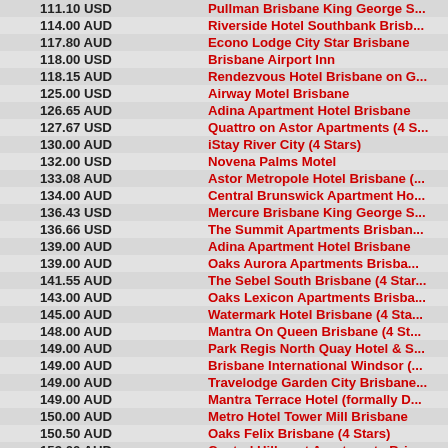| Price | Hotel |
| --- | --- |
| 111.10 USD | Pullman Brisbane King George S... |
| 114.00 AUD | Riverside Hotel Southbank Brisb... |
| 117.80 AUD | Econo Lodge City Star Brisbane |
| 118.00 USD | Brisbane Airport Inn |
| 118.15 AUD | Rendezvous Hotel Brisbane on G... |
| 125.00 USD | Airway Motel Brisbane |
| 126.65 AUD | Adina Apartment Hotel Brisbane |
| 127.67 USD | Quattro on Astor Apartments (4 S... |
| 130.00 AUD | iStay River City (4 Stars) |
| 132.00 USD | Novena Palms Motel |
| 133.08 AUD | Astor Metropole Hotel Brisbane (... |
| 134.00 AUD | Central Brunswick Apartment Ho... |
| 136.43 USD | Mercure Brisbane King George S... |
| 136.66 USD | The Summit Apartments Brisban... |
| 139.00 AUD | Adina Apartment Hotel Brisbane |
| 139.00 AUD | Oaks Aurora Apartments Brisba... |
| 141.55 AUD | The Sebel South Brisbane (4 Star... |
| 143.00 AUD | Oaks Lexicon Apartments Brisba... |
| 145.00 AUD | Watermark Hotel Brisbane (4 Sta... |
| 148.00 AUD | Mantra On Queen Brisbane (4 St... |
| 149.00 AUD | Park Regis North Quay Hotel & S... |
| 149.00 AUD | Brisbane International Windsor (... |
| 149.00 AUD | Travelodge Garden City Brisbane... |
| 149.00 AUD | Mantra Terrace Hotel (formally D... |
| 150.00 AUD | Metro Hotel Tower Mill Brisbane |
| 150.50 AUD | Oaks Felix Brisbane (4 Stars) |
| 153.00 AUD | Central Hillcrest Apartments Bris... |
| 153.00 AUD | Oaks 212 Margaret Brisbane (4 S... |
| 153.38 USD | Franklin Villa Brisbane (4 Stars) |
| 154.00 AUD | Essence Apartments Brisbane |
| 155.00 AUD | West End Central Apartments (... |